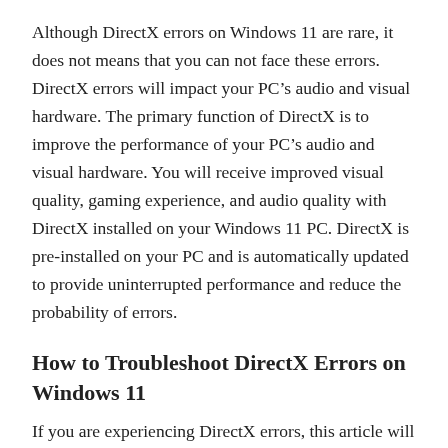Although DirectX errors on Windows 11 are rare, it does not means that you can not face these errors. DirectX errors will impact your PC’s audio and visual hardware. The primary function of DirectX is to improve the performance of your PC’s audio and visual hardware. You will receive improved visual quality, gaming experience, and audio quality with DirectX installed on your Windows 11 PC. DirectX is pre-installed on your PC and is automatically updated to provide uninterrupted performance and reduce the probability of errors.
How to Troubleshoot DirectX Errors on Windows 11
If you are experiencing DirectX errors, this article will provide some possible solutions to assist you in fixing DirectX errors on Windows 11.